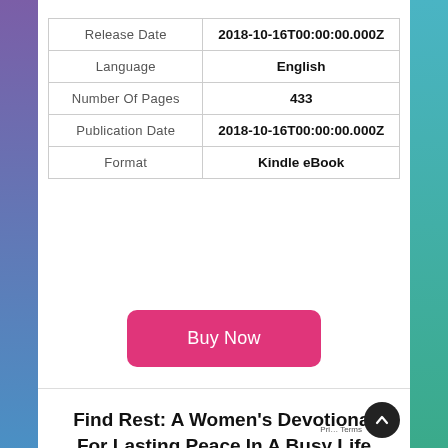| Release Date | 2018-10-16T00:00:00.000Z |
| Language | English |
| Number Of Pages | 433 |
| Publication Date | 2018-10-16T00:00:00.000Z |
| Format | Kindle eBook |
[Figure (other): Pink 'Buy Now' button with rounded corners]
Find Rest: A Women's Devotional For Lasting Peace In A Busy Life